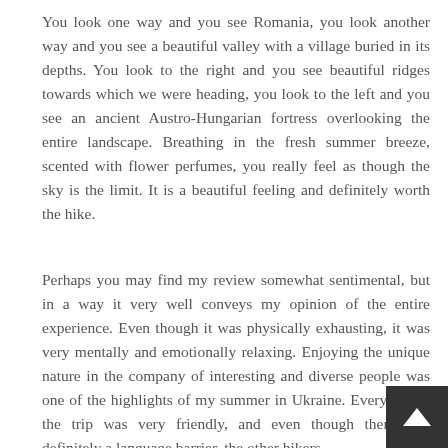You look one way and you see Romania, you look another way and you see a beautiful valley with a village buried in its depths. You look to the right and you see beautiful ridges towards which we were heading, you look to the left and you see an ancient Austro-Hungarian fortress overlooking the entire landscape. Breathing in the fresh summer breeze, scented with flower perfumes, you really feel as though the sky is the limit. It is a beautiful feeling and definitely worth the hike.
Perhaps you may find my review somewhat sentimental, but in a way it very well conveys my opinion of the entire experience. Even though it was physically exhausting, it was very mentally and emotionally relaxing. Enjoying the unique nature in the company of interesting and diverse people was one of the highlights of my summer in Ukraine. Everyone on the trip was very friendly, and even though there was definitely a language barrier, the other hikers